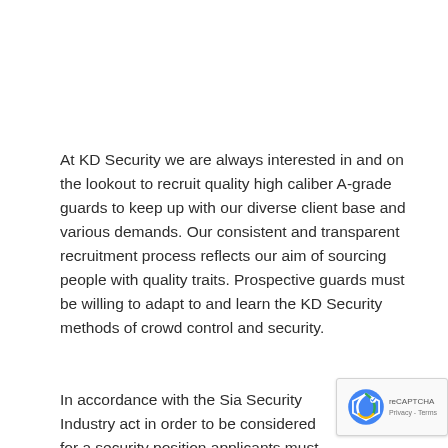At KD Security we are always interested in and on the lookout to recruit quality high caliber A-grade guards to keep up with our diverse client base and various demands. Our consistent and transparent recruitment process reflects our aim of sourcing people with quality traits. Prospective guards must be willing to adapt to and learn the KD Security methods of crowd control and security.
In accordance with the Sia Security Industry act in order to be considered for a security position applicants must